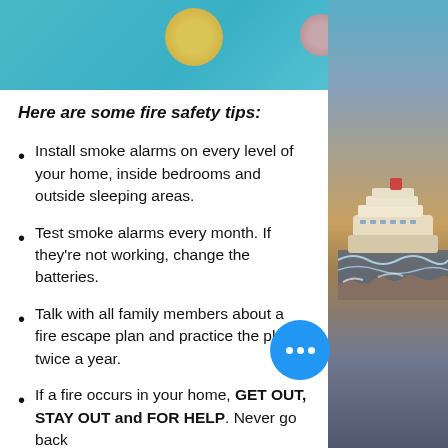[Figure (photo): Blurred top banner image with teal/blue background and colored blobs (orange and pink circles)]
[Figure (photo): Right side panel showing a cruise ship on the ocean at sunset with rocky shore]
Here are some fire safety tips:
Install smoke alarms on every level of your home, inside bedrooms and outside sleeping areas.
Test smoke alarms every month. If they're not working, change the batteries.
Talk with all family members about a fire escape plan and practice the plan twice a year.
If a fire occurs in your home, GET OUT, STAY OUT and FOR HELP. Never go back inside for anything.